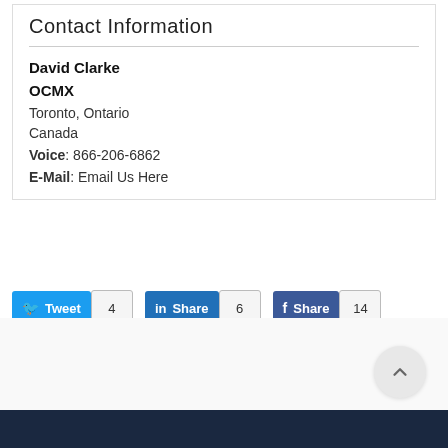Contact Information
David Clarke
OCMX
Toronto, Ontario
Canada
Voice: 866-206-6862
E-Mail: Email Us Here
[Figure (infographic): Social share buttons: Tweet (4), Share on LinkedIn (6), Share on Facebook (14), Pin (0), Email button]